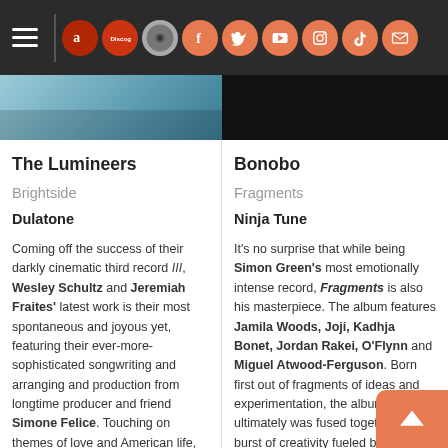Navigation bar with menu icons: Amazon, Discogs, Bandcamp, Facebook, Twitter, YouTube, Instagram, TikTok, Email
[Figure (photo): Two album cover image strips cropped at top — left shows blue/sky image, right shows dark/black image]
The Lumineers
Brightside
Dulatone
Coming off the success of their darkly cinematic third record III, Wesley Schultz and Jeremiah Fraites' latest work is their most spontaneous and joyous yet, featuring their ever-more-sophisticated songwriting and arranging and production from longtime producer and friend Simone Felice. Touching on themes of love and American life, the album features the foot-
Bonobo
Fragments
Ninja Tune
It's no surprise that while being Simon Green's most emotionally intense record, Fragments is also his masterpiece. The album features Jamila Woods, Joji, Kadhja Bonet, Jordan Rakei, O'Flynn and Miguel Atwood-Ferguson. Born first out of fragments of ideas and experimentation, the album ultimately was fused together in a burst of creativity fueled by both